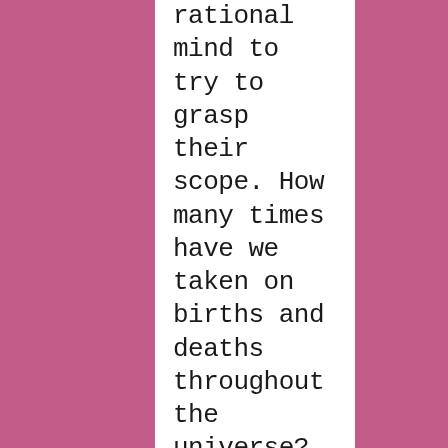rational mind to try to grasp their scope. How many times have we taken on births and deaths throughout the universe? Our ancestors and those related to us are literally infinite. You can't wrap